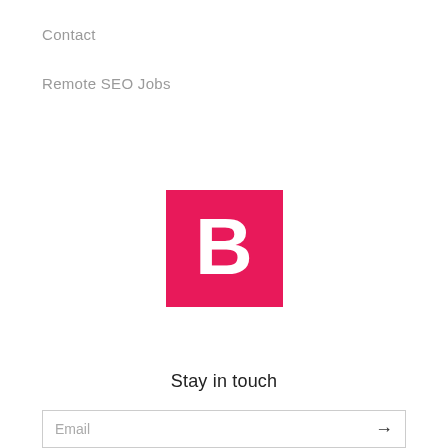Contact
Remote SEO Jobs
[Figure (logo): Red square logo with white bold letter B]
Stay in touch
Email →